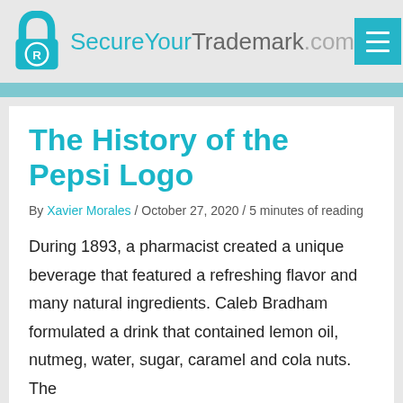SecureYourTrademark.com
The History of the Pepsi Logo
By Xavier Morales / October 27, 2020 / 5 minutes of reading
During 1893, a pharmacist created a unique beverage that featured a refreshing flavor and many natural ingredients. Caleb Bradham formulated a drink that contained lemon oil, nutmeg, water, sugar, caramel and cola nuts. The